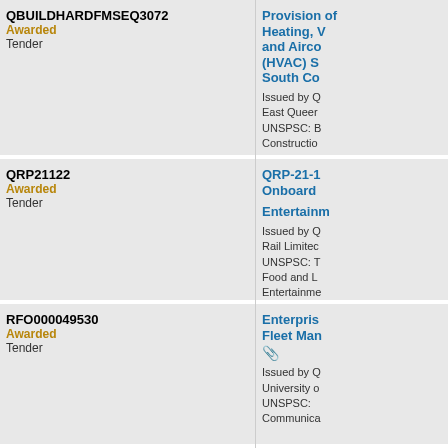| Reference / Status / Type | Title / Details |
| --- | --- |
| QBUILDHARDFMSEQ3072
Awarded
Tender | Provision of Heating, Ventilation and Airconditioning (HVAC) S... South Co...
Issued by Q...
East Queen...
UNSPSC: B...
Construction...
Maintenance (100%) |
| QRP21122
Awarded
Tender | QRP-21-1... Onboard ...
Entertainm...
Issued by Q...
Rail Limited...
UNSPSC: T...
Food and L...
Entertainme... (50%) |
| RFO000049530
Awarded
Tender | Enterpris... Fleet Man...
[attachment]
Issued by Q...
University o...
UNSPSC:
Communica... |